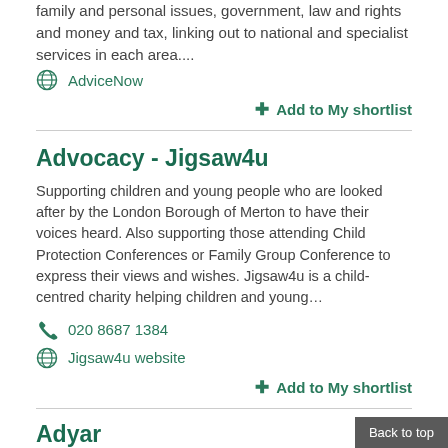family and personal issues, government, law and rights and money and tax, linking out to national and specialist services in each area....
AdviceNow
+ Add to My shortlist
Advocacy - Jigsaw4u
Supporting children and young people who are looked after by the London Borough of Merton to have their voices heard. Also supporting those attending Child Protection Conferences or Family Group Conference to express their views and wishes. Jigsaw4u is a child-centred charity helping children and young...
020 8687 1384
Jigsaw4u website
+ Add to My shortlist
Adyar
Purpose-built 1 bedroom properties for rent for people over